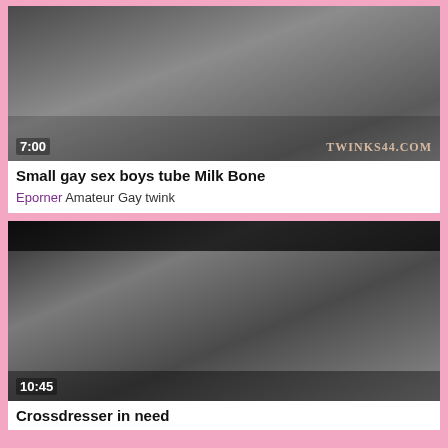[Figure (photo): Video thumbnail showing two people on a couch, timestamp 7:00, watermark TWINKS44.COM]
Small gay sex boys tube Milk Bone
Eporner Amateur Gay twink
[Figure (photo): Video thumbnail showing crossdresser scene, timestamp 10:45]
Crossdresser in need